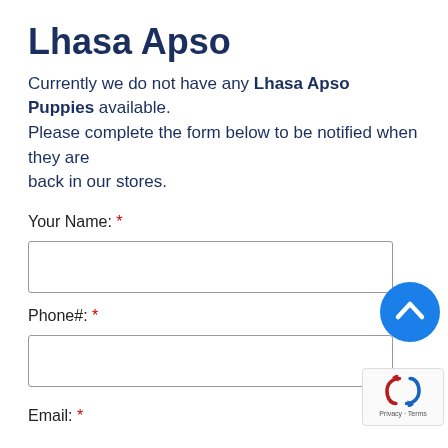Lhasa Apso
Currently we do not have any Lhasa Apso Puppies available. Please complete the form below to be notified when they are back in our stores.
Your Name: *
Phone#: *
[Figure (other): Blue circular scroll-to-top button with upward chevron arrow]
[Figure (other): reCAPTCHA badge with rotating arrows icon and Privacy - Terms text]
Email: *